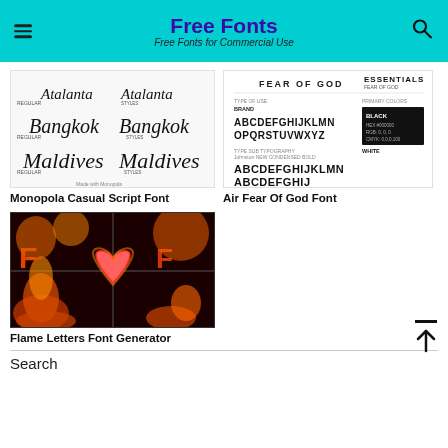Free Fonts — Free Fonts for Commercial Use
[Figure (illustration): Preview of Monopola Casual Script Font showing Atalanta, Bangkok, and Maldives in regular and styles weights]
Monopola Casual Script Font
[Figure (illustration): Preview of Air Fear Of God Font showing alphabet specimen with Fear of God Essentials branding]
Air Fear Of God Font
[Figure (illustration): Flame Letters Font Generator showing fiery letter previews on dark background]
Flame Letters Font Generator
Search